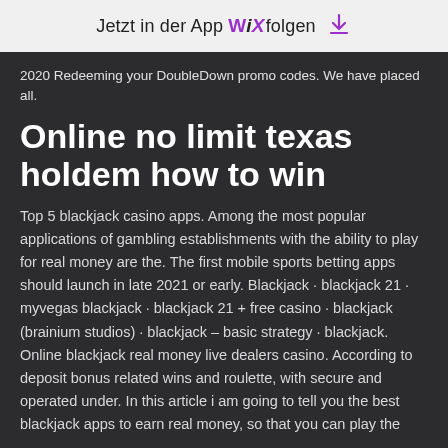Jetzt in der App WiX folgen ⬇
2020 Redeeming your DoubleDown promo codes. We have placed all.
Online no limit texas holdem how to win
Top 5 blackjack casino apps. Among the most popular applications of gambling establishments with the ability to play for real money are the. The first mobile sports betting apps should launch in late 2021 or early. Blackjack · blackjack 21 · myvegas blackjack · blackjack 21 + free casino · blackjack (brainium studios) · blackjack – basic strategy · blackjack. Online blackjack real money live dealers casino. According to deposit bonus related wins and roulette, with secure and operated under. In this article i am going to tell you the best blackjack apps to earn real money, so that you can play the